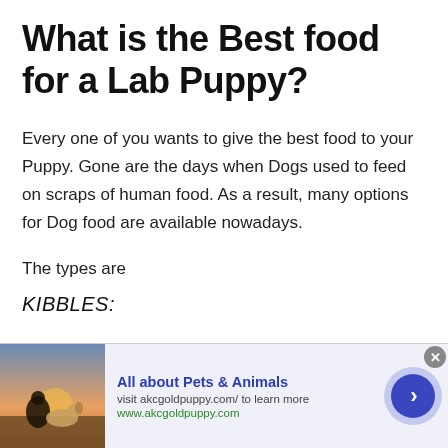What is the Best food for a Lab Puppy?
Every one of you wants to give the best food to your Puppy. Gone are the days when Dogs used to feed on scraps of human food. As a result, many options for Dog food are available nowadays.
The types are
KIBBLES:
[Figure (photo): Advertisement banner showing a person sitting with a yellow Labrador dog at sunset. Text: All about Pets & Animals, visit akcgoldpuppy.com/ to learn more, www.akcgoldpuppy.com]